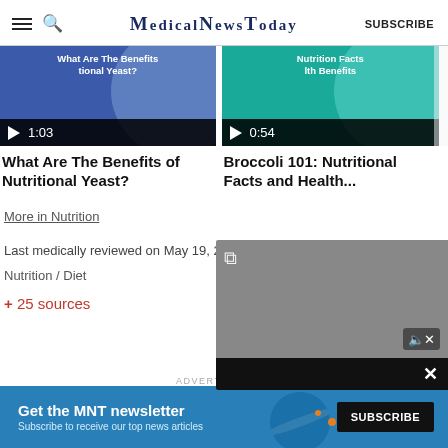MedicalNewsToday
[Figure (screenshot): Video thumbnail for 'What Are The Benefits of Nutritional Yeast?' with play button and time 1:03, blue background]
What Are The Benefits of Nutritional Yeast?
[Figure (screenshot): Video thumbnail for 'Broccoli 101: Nutritional Facts and Health...' with play button and time 0:54, teal background]
Broccoli 101: Nutritional Facts and Health...
More in Nutrition
Last medically reviewed on May 19, 2
Nutrition / Diet
+ 25 sources
[Figure (screenshot): Floating video player overlay panel with gray background, expand icon, mute icon, and close button on black bar]
ADVERTISEMENT
[Figure (screenshot): MNT newsletter subscription banner ad: 'Get the MNT newsletter' with SUBSCRIBE button, blue background with planet decoration]